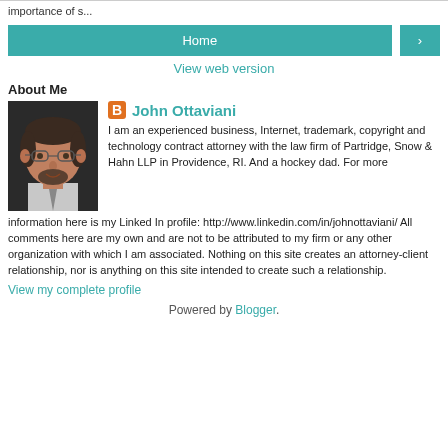importance of s...
Home
View web version
About Me
[Figure (photo): Headshot photo of John Ottaviani, a middle-aged man with glasses and a beard, wearing a suit jacket]
John Ottaviani
I am an experienced business, Internet, trademark, copyright and technology contract attorney with the law firm of Partridge, Snow & Hahn LLP in Providence, RI. And a hockey dad. For more information here is my Linked In profile: http://www.linkedin.com/in/johnottaviani/ All comments here are my own and are not to be attributed to my firm or any other organization with which I am associated. Nothing on this site creates an attorney-client relationship, nor is anything on this site intended to create such a relationship.
View my complete profile
Powered by Blogger.